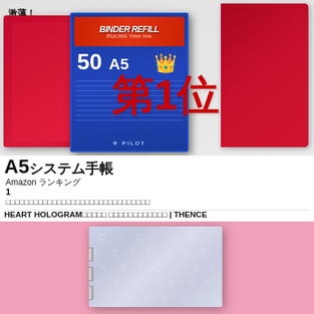[Figure (photo): Red A5 ring binder system notebook with blue Pilot Binder Refill paper pack showing 50 sheets A5, ranked #1 with gold crown and red 第1位 text. Top text reads 激薄！ビジネスにおすすめ！ with ring size 15mm badge.]
A5システム手帳
Amazon ランキング
1
スマートなA5サイズのシステム手帳でビジネスを快適に管理しましょう。
HEART HOLOGRAMシステム手帳 システム手帳専門店 | THENCE
[Figure (photo): Holographic heart-pattern A5 system binder notebook on pink background, showing silver/blue iridescent cover with heart pattern print.]